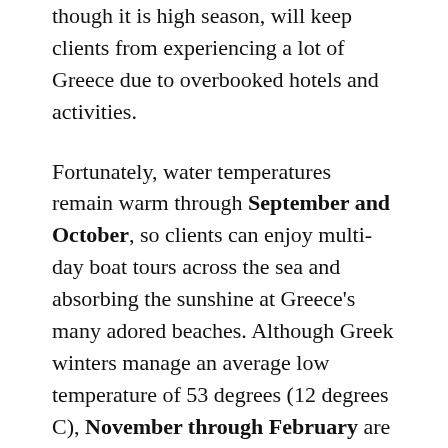though it is high season, will keep clients from experiencing a lot of Greece due to overbooked hotels and activities.
Fortunately, water temperatures remain warm through September and October, so clients can enjoy multi-day boat tours across the sea and absorbing the sunshine at Greece's many adored beaches. Although Greek winters manage an average low temperature of 53 degrees (12 degrees C), November through February are its rainiest months, and the off-season renders many tourism amenities unavailable.
April through June is the best time to go to experiencing expectations in Greece, and at bette...